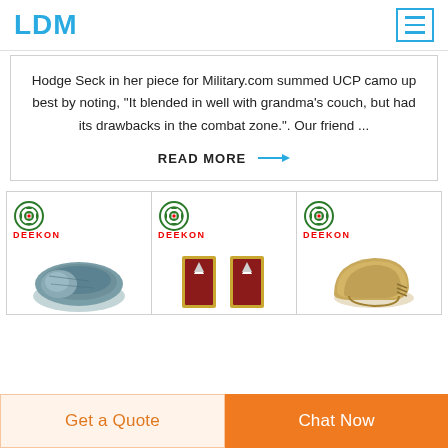LDM
Hodge Seck in her piece for Military.com summed UCP camo up best by noting, "It blended in well with grandma's couch, but had its drawbacks in the combat zone.". Our friend ...
READ MORE →
[Figure (photo): Three product cards each with a Deekon logo: a military sleeping bag, military rank epaulettes, and a tactical helmet]
Get a Quote
Chat Now